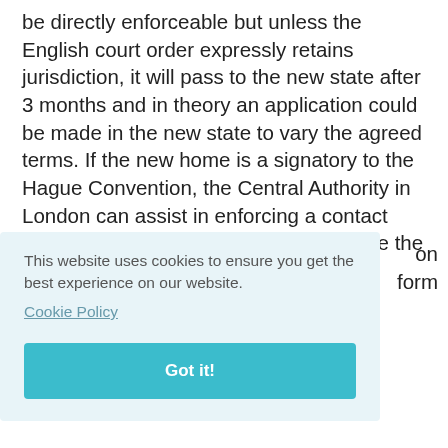be directly enforceable but unless the English court order expressly retains jurisdiction, it will pass to the new state after 3 months and in theory an application could be made in the new state to vary the agreed terms. If the new home is a signatory to the Hague Convention, the Central Authority in London can assist in enforcing a contact order abroad. If the new home is outside the EU and is not a signatory to the Hague Convention, for example Arab ... on form
This website uses cookies to ensure you get the best experience on our website.
Cookie Policy
Got it!